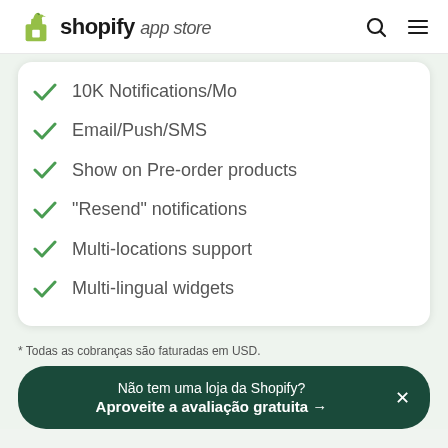shopify app store
10K Notifications/Mo
Email/Push/SMS
Show on Pre-order products
"Resend" notifications
Multi-locations support
Multi-lingual widgets
* Todas as cobranças são faturadas em USD.
Não tem uma loja da Shopify? Aproveite a avaliação gratuita →